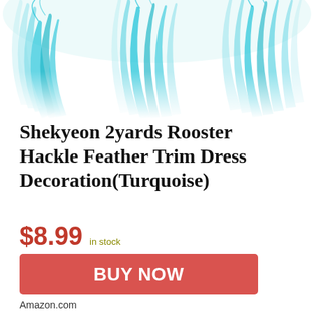[Figure (photo): Turquoise rooster hackle feathers arranged decoratively, cropped at bottom, white background — product photo for feather trim]
Shekyeon 2yards Rooster Hackle Feather Trim Dress Decoration(Turquoise)
$8.99 in stock
BUY NOW
Amazon.com
as of June 27, 2022 4:35 pm ℹ